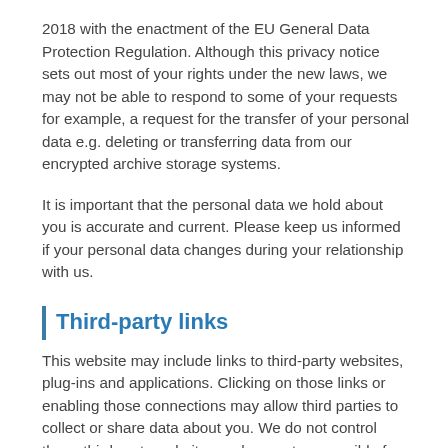2018 with the enactment of the EU General Data Protection Regulation. Although this privacy notice sets out most of your rights under the new laws, we may not be able to respond to some of your requests for example, a request for the transfer of your personal data e.g. deleting or transferring data from our encrypted archive storage systems.
It is important that the personal data we hold about you is accurate and current. Please keep us informed if your personal data changes during your relationship with us.
Third-party links
This website may include links to third-party websites, plug-ins and applications. Clicking on those links or enabling those connections may allow third parties to collect or share data about you. We do not control these third-party websites and are not responsible for their privacy statements. When you leave our website, we